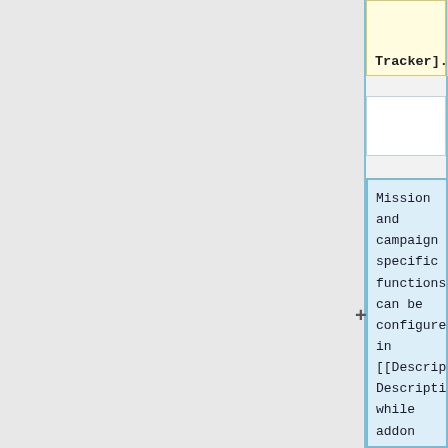Tracker].}}
Mission and campaign specific functions can be configured in [[Description.ext]]/[[Campaign Description.ext]], while addon functions are defined in [[Config.cpp]].